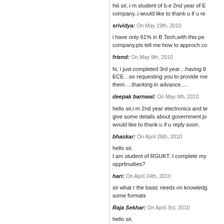hiii sir, i m student of b.e 2nd year of E company..i would like to thank u if u re
srividya: On May 19th, 2010
i have only 61% in B Tech,with this pe company.pls tell me how to approch co
friend: On May 9th, 2010
hi, i just completed 3rd year…having 8 ECE…so requesting you to provide me them….thanking in advance….
deepak barnwal: On May 8th, 2010
hello sir,i m 2nd year electronics and te give some details about government jo would like to thank u if u reply soon.
bhaskar: On April 26th, 2010
hello sir,
I am student of RGUKT. I complete my opprtinuities?
hari: On April 24th, 2010
sir what r the basic needs on knowledg some formats
Raja Sekhar: On April 3rd, 2010
hello sir,